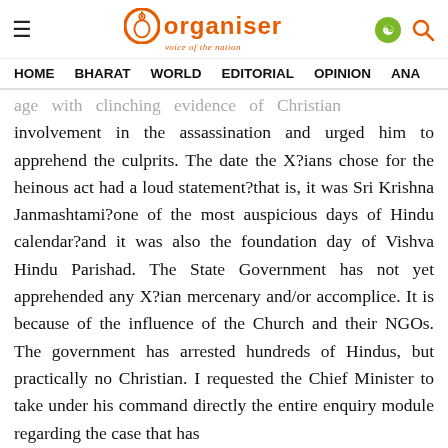Organiser — voice of the nation | HOME  BHARAT  WORLD  EDITORIAL  OPINION  ANA…
age with clinching evidence of Christian involvement in the assassination and urged him to apprehend the culprits. The date the X?ians chose for the heinous act had a loud statement?that is, it was Sri Krishna Janmashtami?one of the most auspicious days of Hindu calendar?and it was also the foundation day of Vishva Hindu Parishad. The State Government has not yet apprehended any X?ian mercenary and/or accomplice. It is because of the influence of the Church and their NGOs. The government has arrested hundreds of Hindus, but practically no Christian. I requested the Chief Minister to take under his command directly the entire enquiry module regarding the case that has